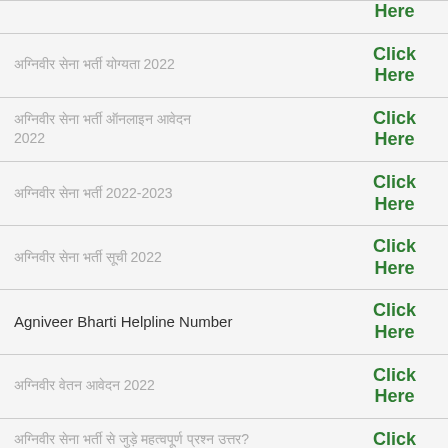अग्निवीर सेना भर्ती योग्यता 2022 | Click Here
अग्निवीर सेना भर्ती ऑनलाइन आवेदन 2022 | Click Here
अग्निवीर सेना भर्ती 2022-2023 | Click Here
अग्निवीर सेना भर्ती सूची 2022 | Click Here
Agniveer Bharti Helpline Number | Click Here
अग्निवीर वेतन आवेदन 2022 | Click Here
अग्निवीर सेना भर्ती से जुड़े महत्वपूर्ण प्रश्न उत्तर? | Click